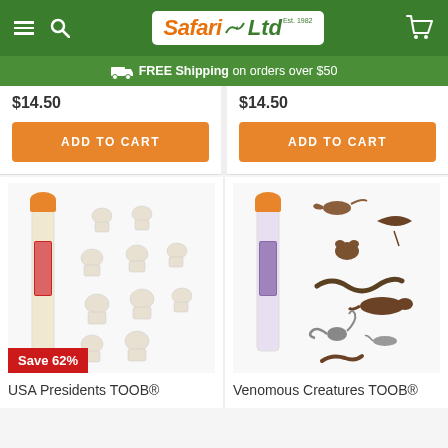[Figure (screenshot): Safari Ltd website header with hamburger menu, search icon, Safari Ltd logo, and cart icon on green background]
FREE Shipping on orders over $50
$14.50
$14.50
[Figure (photo): USA Presidents TOOB product - tube with small white presidential busts figurines. Save 62% badge.]
USA Presidents TOOB®
[Figure (photo): Venomous Creatures TOOB product - tube with small brown venomous animal figurines including scorpion, snake, lizard, etc.]
Venomous Creatures TOOB®